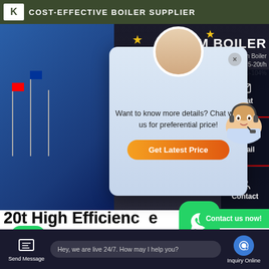COST-EFFECTIVE BOILER SUPPLIER
STEAM BOILER
Steam Boiler
5-20t/h
100-104%
[Figure (screenshot): Chat popup with customer service avatar, text 'Want to know more details? Chat with us for preferential price!' and orange 'Get Latest Price' button]
Chat
Email
Contact
20t High Efficiency Boiler Estonia
Contact us now!
Contact us now!
Hey, we are live 24/7. How may I help you?
Send Message
Inquiry Online